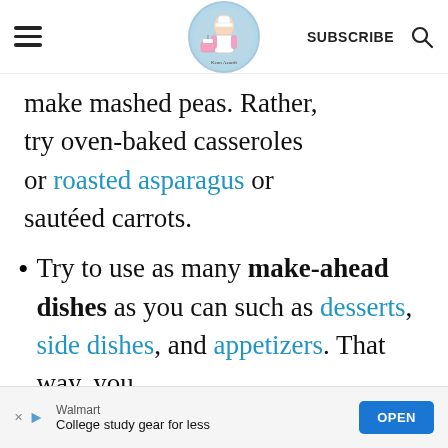Keon Azaedi (logo) SUBSCRIBE (search icon)
make mashed peas. Rather, try oven-baked casseroles or roasted asparagus or sautéed carrots.
Try to use as many make-ahead dishes as you can such as desserts, side dishes, and appetizers. That way, you
Walmart College study gear for less OPEN